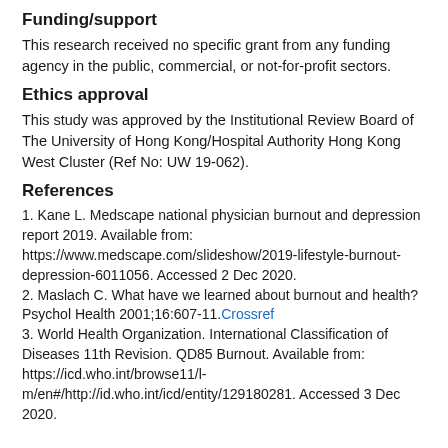Funding/support
This research received no specific grant from any funding agency in the public, commercial, or not-for-profit sectors.
Ethics approval
This study was approved by the Institutional Review Board of The University of Hong Kong/Hospital Authority Hong Kong West Cluster (Ref No: UW 19-062).
References
1. Kane L. Medscape national physician burnout and depression report 2019. Available from: https://www.medscape.com/slideshow/2019-lifestyle-burnout-depression-6011056. Accessed 2 Dec 2020.
2. Maslach C. What have we learned about burnout and health? Psychol Health 2001;16:607-11. Crossref
3. World Health Organization. International Classification of Diseases 11th Revision. QD85 Burnout. Available from: https://icd.who.int/browse11/l-m/en#/http://id.who.int/icd/entity/129180281. Accessed 3 Dec 2020.